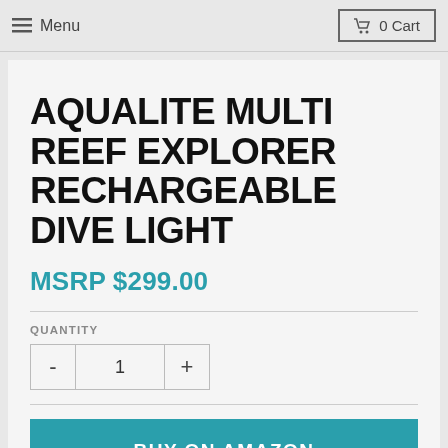Menu   0 Cart
AQUALITE MULTI REEF EXPLORER RECHARGEABLE DIVE LIGHT
MSRP $299.00
QUANTITY
- 1 +
BUY ON AMAZON